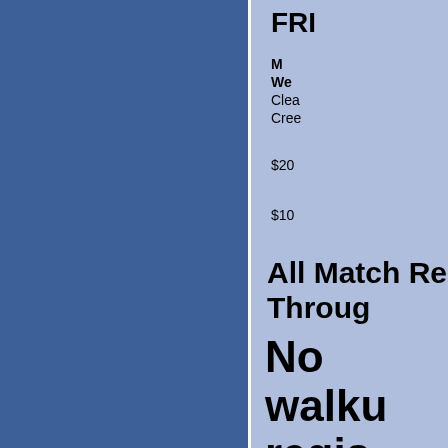FRI
M
We
Clea
Cree
$20
$10
All Match Re
Throug
No walku
regis